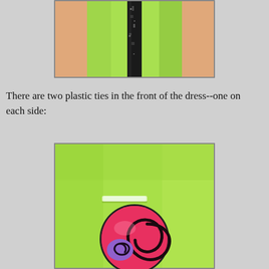[Figure (photo): Close-up photo of a doll torso wearing a shiny lime-green dress with a black glittery vertical stripe down the center front.]
There are two plastic ties in the front of the dress--one on each side:
[Figure (photo): Close-up photo of lime-green fabric with a small clear plastic tie visible, and a round pink button/decoration with swirl patterns in black and purple.]